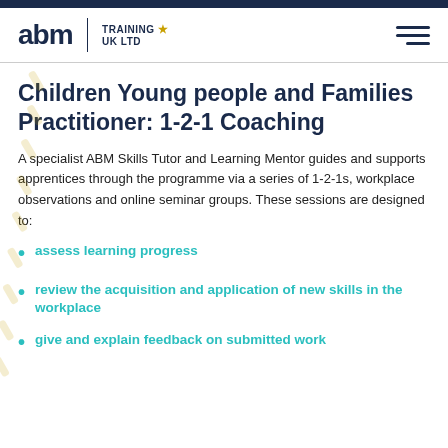abm TRAINING ★ UK LTD
Children Young people and Families Practitioner: 1-2-1 Coaching
A specialist ABM Skills Tutor and Learning Mentor guides and supports apprentices through the programme via a series of 1-2-1s, workplace observations and online seminar groups. These sessions are designed to:
assess learning progress
review the acquisition and application of new skills in the workplace
give and explain feedback on submitted work